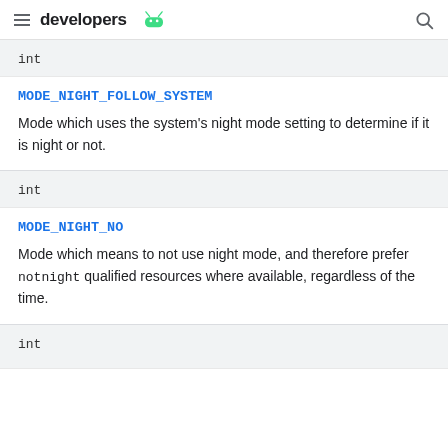developers
| Type | Constant | Description |
| --- | --- | --- |
| int | MODE_NIGHT_FOLLOW_SYSTEM | Mode which uses the system's night mode setting to determine if it is night or not. |
| int | MODE_NIGHT_NO | Mode which means to not use night mode, and therefore prefer notnight qualified resources where available, regardless of the time. |
| int |  |  |